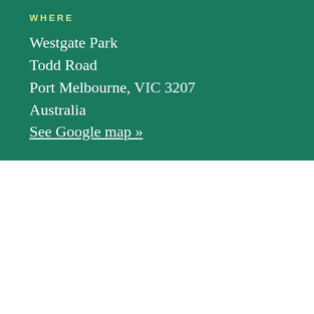WHERE
Westgate Park
Todd Road
Port Melbourne, VIC 3207
Australia
See Google map »